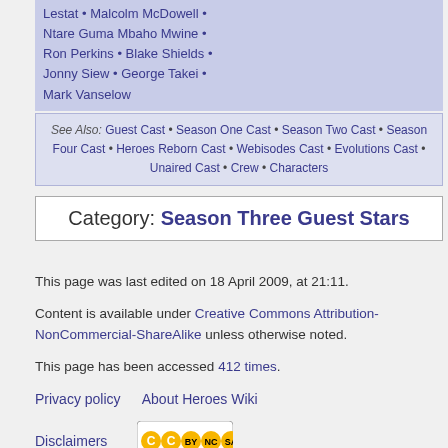Lestat • Malcolm McDowell • Ntare Guma Mbaho Mwine • Ron Perkins • Blake Shields • Jonny Siew • George Takei • Mark Vanselow
See Also: Guest Cast • Season One Cast • Season Two Cast • Season Four Cast • Heroes Reborn Cast • Webisodes Cast • Evolutions Cast • Unaired Cast • Crew • Characters
Category:  Season Three Guest Stars
This page was last edited on 18 April 2009, at 21:11.
Content is available under Creative Commons Attribution-NonCommercial-ShareAlike unless otherwise noted.
This page has been accessed 412 times.
Privacy policy    About Heroes Wiki
Disclaimers
[Figure (logo): Creative Commons license badge with CC BY NC SA icons]